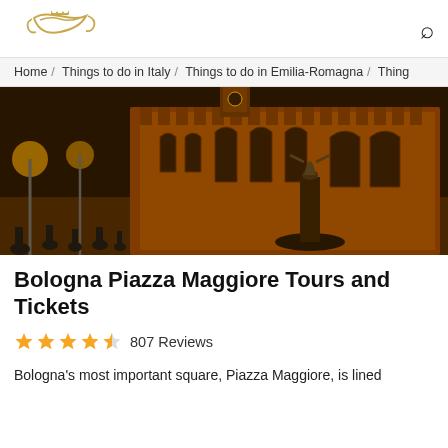[Figure (logo): Gold decorative logo with crown and curved lines]
Home / Things to do in Italy / Things to do in Emilia-Romagna / Thing
[Figure (photo): Nighttime photo of Bologna Piazza Maggiore with illuminated red-brick medieval buildings and Neptune fountain, crowds of people visible]
Bologna Piazza Maggiore Tours and Tickets
★★★★½ 807 Reviews
Bologna's most important square, Piazza Maggiore, is lined